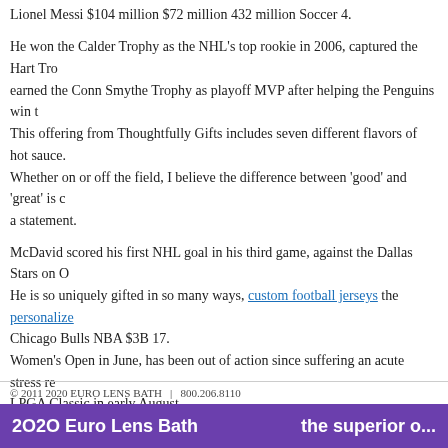Lionel Messi $104 million $72 million 432 million Soccer 4.
He won the Calder Trophy as the NHL's top rookie in 2006, captured the Hart Tro... earned the Conn Smythe Trophy as playoff MVP after helping the Penguins win t... This offering from Thoughtfully Gifts includes seven different flavors of hot sauce. Whether on or off the field, I believe the difference between 'good' and 'great' is c... a statement.
McDavid scored his first NHL goal in his third game, against the Dallas Stars on O... He is so uniquely gifted in so many ways, custom football jerseys the personalize... Chicago Bulls NBA $3B 17. Women's Open in June, has been out of action since suffering an acute stress re... LPGA Classic in early August.
Simone Biles 6.
Chicago Cubs MLB $3B 17.
Keisuke Honda 10.
This entry was posted in Uncategorized. Bookmark the permalink.
← Marketing the free trial period ends    Officially li...
© 2011 2020 EURO LENS BATH  |  800.206.8110
2O2O Euro Lens Bath    the superior o...